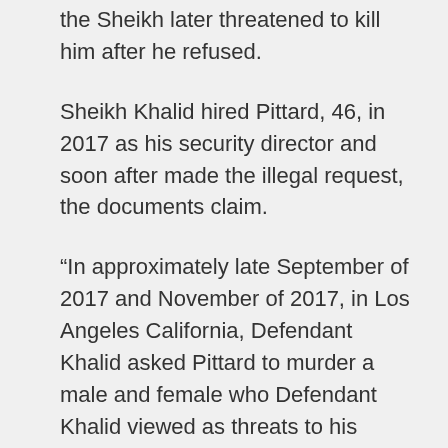the Sheikh later threatened to kill him after he refused.
Sheikh Khalid hired Pittard, 46, in 2017 as his security director and soon after made the illegal request, the documents claim.
“In approximately late September of 2017 and November of 2017, in Los Angeles California, Defendant Khalid asked Pittard to murder a male and female who Defendant Khalid viewed as threats to his social reputation and personal security,” the legal filing said.
“Pittard refused to carr…